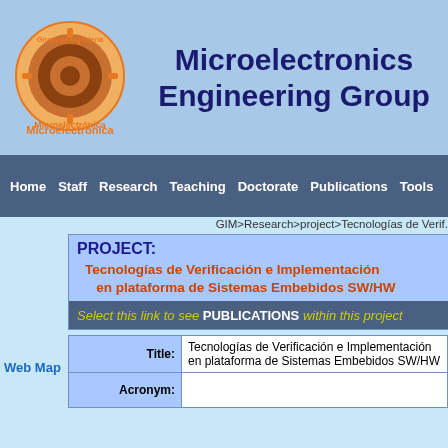[Figure (logo): Grupo de Ingeniería Microelectrónica circular logo with orange border text]
Microelectronics Engineering Group
Home | Staff | Research | Teaching | Doctorate | Publications | Tools
GIM>Research>project>Tecnologías de Verif.
PROJECT:
Tecnologías de Verificación e Implementación en plataforma de Sistemas Embebidos SW/HW
Select this link to see PUBLICATIONS within this project
| Label | Value |
| --- | --- |
| Title: | Tecnologías de Verificación e Implementación en plataforma de Sistemas Embebidos SW/HW |
| Acronym: |  |